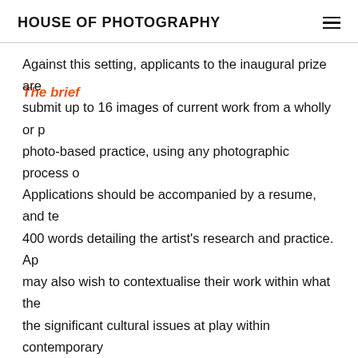HOUSE OF PHOTOGRAPHY
The brief
Against this setting, applicants to the inaugural prize are submit up to 16 images of current work from a wholly or p photo-based practice, using any photographic process o Applications should be accompanied by a resume, and te 400 words detailing the artist's research and practice. Ap may also wish to contextualise their work within what the the significant cultural issues at play within contemporary